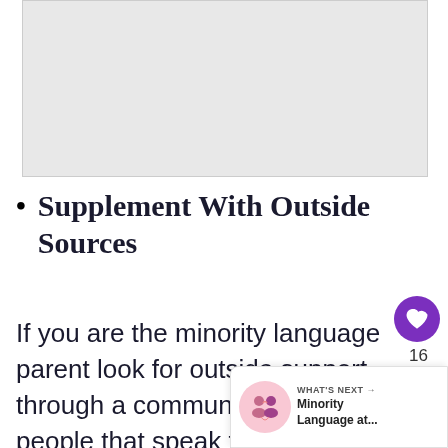[Figure (photo): Image placeholder — a prior image content area, gray background]
Supplement With Outside Sources
If you are the minority language parent look for outside support through a community group of people that speak the same minority language. Fo… playgroups, zoom calls, sleepovers, etc..